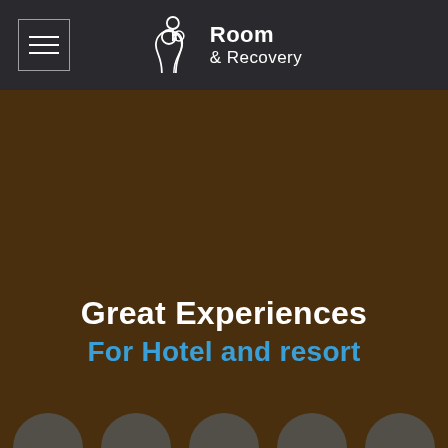[Figure (logo): Room & Recovery logo — silhouette of a person with a key above the head, white outline on dark background, with text 'Room & Recovery' in white]
Great Experiences
For Hotel and resort